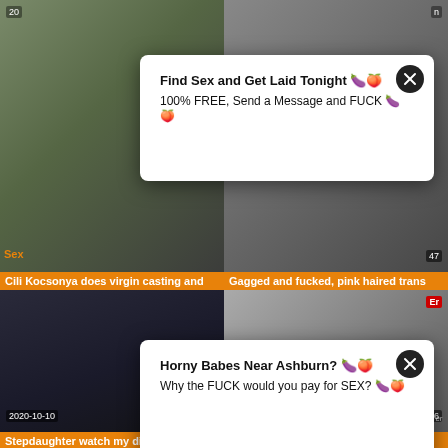[Figure (screenshot): Video thumbnail grid showing adult content thumbnails with popup advertisements overlaid. Top-left: woman with red hair in bikini top (year label '20', 'Sex' label). Top-right: partial image. Bottom row-left: woman sitting on couch (2020-10-10, 52:05). Bottom-right: blonde woman close-up (2020-10-10, 26:46, verabredet uber...).]
Find Sex and Get Laid Tonight 🍆🍑
100% FREE, Send a Message and FUCK 🍆🍑
Horny Babes Near Ashburn? 🍆🍑
Why the FUCK would you pay for SEX? 🍆🍑
Cili Kocsonya does virgin casting and
Gagged and fucked, pink haired trans
Stepdaughter watch my dick because
Deutsche dicke titten tattoo babe beim